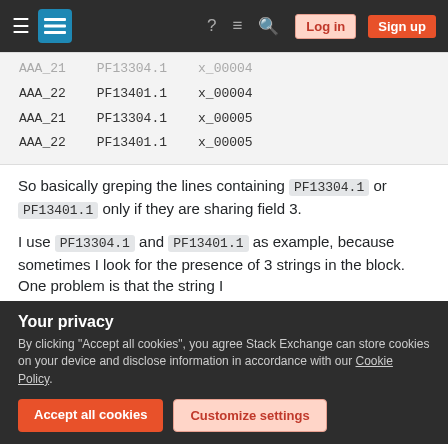Stack Exchange navigation bar with Log in and Sign up buttons
| AAA_21 | PF13304.1 | x_00004 |
| AAA_22 | PF13401.1 | x_00004 |
| AAA_21 | PF13304.1 | x_00005 |
| AAA_22 | PF13401.1 | x_00005 |
So basically greping the lines containing PF13304.1 or PF13401.1 only if they are sharing field 3.
I use PF13304.1 and PF13401.1 as example, because sometimes I look for the presence of 3 strings in the block. One problem is that the string I
Your privacy
By clicking "Accept all cookies", you agree Stack Exchange can store cookies on your device and disclose information in accordance with our Cookie Policy.
Accept all cookies   Customize settings
Instead the line containing